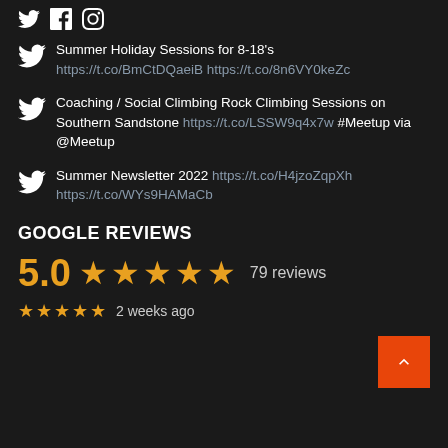[Figure (infographic): Social media icons: Twitter bird, Facebook f, Instagram camera]
Summer Holiday Sessions for 8-18's https://t.co/BmCtDQaeiB https://t.co/8n6VY0keZc
Coaching / Social Climbing Rock Climbing Sessions on Southern Sandstone https://t.co/LSSW9q4x7w #Meetup via @Meetup
Summer Newsletter 2022 https://t.co/H4jzoZqpXh https://t.co/WYs9HAMaCb
GOOGLE REVIEWS
5.0 ★★★★★ 79 reviews
★★★★★ 2 weeks ago